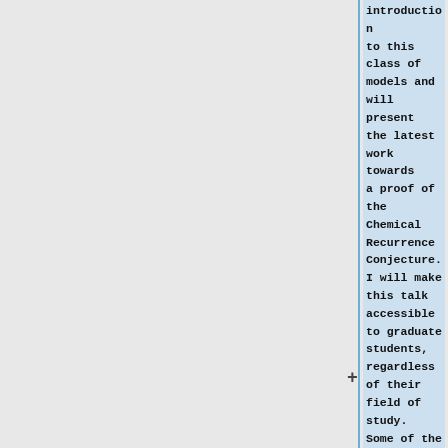introduction to this class of models and will present the latest work towards a proof of the Chemical Recurrence Conjecture. I will make this talk accessible to graduate students, regardless of their field of study. Some of the